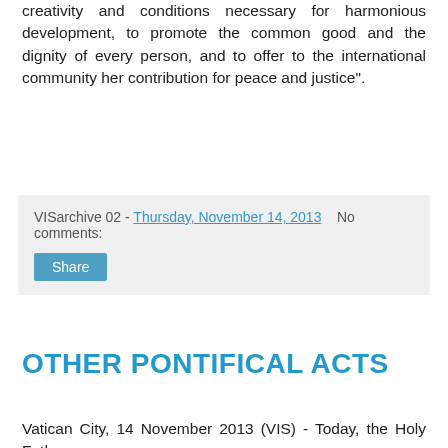creativity and conditions necessary for harmonious development, to promote the common good and the dignity of every person, and to offer to the international community her contribution for peace and justice".
VISarchive 02 - Thursday, November 14, 2013   No comments:
Share
OTHER PONTIFICAL ACTS
Vatican City, 14 November 2013 (VIS) - Today, the Holy Father:
- appointed Bishop Sebastian Francis Shaw as Archbishop of Lahore (area 23,069, population 27,023,000, Catholics 404,000, priests 78, religious 343), Pakistan. Archbishop-elect Shaw was previously auxiliary of Lahore and apostolic